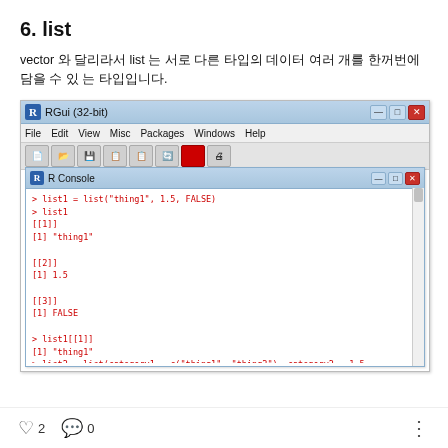6. list
vector 와 달리라서 list 는 서로 다른 타입의 데이터 여러 개를 한꺼번에 담을 수 있 는 타입입니다.
[Figure (screenshot): RGui (32-bit) R Console window showing R code: list1 = list('thing1', 1.5, FALSE); list1 output showing [[1]] [1] 'thing1', [[2]] [1] 1.5, [[3]] [1] FALSE; list1[[1]] showing [1] 'thing1'; list2 = list(category1 = c('thing1', 'thing2'), category2 = 1.5, category3...); list2 showing $category1 [1] 'thing1' 'thing2', $category2 [1] 1.5]
♡ 2  💬 0  ⋮